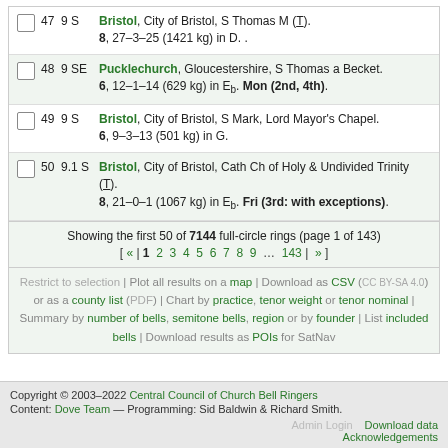47  9 S  Bristol, City of Bristol, S Thomas M (T). 8, 27–3–25 (1421 kg) in D. .
48  9 SE  Pucklechurch, Gloucestershire, S Thomas a Becket. 6, 12–1–14 (629 kg) in Eb. Mon (2nd, 4th).
49  9 S  Bristol, City of Bristol, S Mark, Lord Mayor's Chapel. 6, 9–3–13 (501 kg) in G.
50  9.1 S  Bristol, City of Bristol, Cath Ch of Holy & Undivided Trinity (T). 8, 21–0–1 (1067 kg) in Eb. Fri (3rd: with exceptions).
Showing the first 50 of 7144 full-circle rings (page 1 of 143) [ « | 1 2 3 4 5 6 7 8 9 … 143 | » ]
Restrict to selection | Plot all results on a map | Download as CSV (CC BY-SA 4.0) or as a county list (PDF) | Chart by practice, tenor weight or tenor nominal | Summary by number of bells, semitone bells, region or by founder | List included bells | Download results as POIs for SatNav
Copyright © 2003–2022 Central Council of Church Bell Ringers Content: Dove Team — Programming: Sid Baldwin & Richard Smith. Download data Acknowledgements